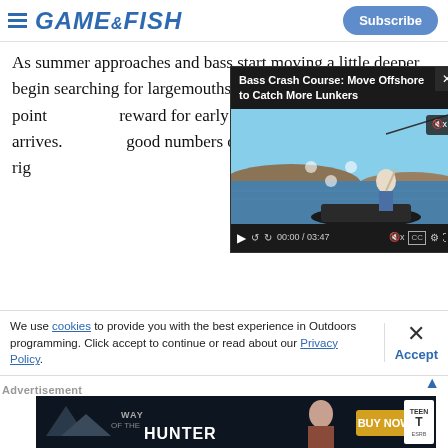GAME&FISH | Subscribe
As summer approaches and bass start moving a little deeper, begin searching for largemouths around the main-lake point... reward for early... the day arrives. good numbers... and Carolina-rig...
[Figure (screenshot): Embedded video player titled 'Bass Crash Course: Move Offshore to Catch More Lunkers' showing a fisherman standing on a boat with rod bent, lake and hills in background. Video controls show 00:00 / 03:47.]
Don't be afraid to fish shallow even on the hottest of
We use cookies to provide you with the best experience in Outdoors programming. Click accept to continue or read about our Privacy Policy.
Advertisement
[Figure (screenshot): Advertisement banner for 'Way of the Hunter' game showing text WAY OF THE HUNTER and BUY NOW! with TEEN ESRB rating.]